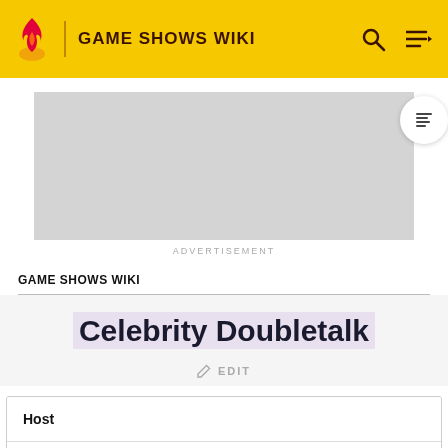GAME SHOWS WIKI
[Figure (screenshot): Advertisement placeholder grey box]
ADVERTISEMENT
GAME SHOWS WIKI
Celebrity Doubletalk
EDIT
| Host |
| --- |
| Jack Clark |